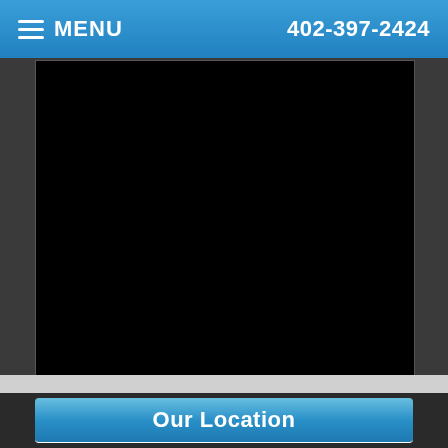≡ MENU   402-397-2424
[Figure (other): Black video player area]
Our Location